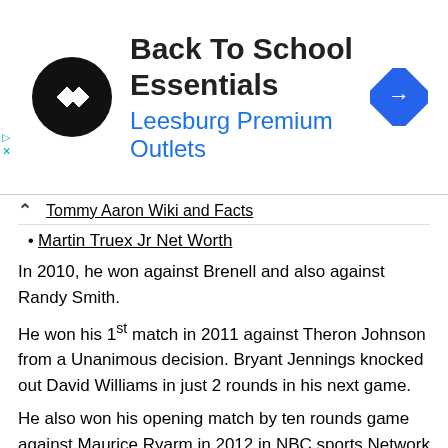[Figure (infographic): Advertisement banner for 'Back To School Essentials' at Leesburg Premium Outlets, with a circular black logo icon and a blue diamond navigation arrow icon.]
Tommy Aaron Wiki and Facts
Martin Truex Jr Net Worth
In 2010, he won against Brenell and also against Randy Smith.
He won his 1st match in 2011 against Theron Johnson from a Unanimous decision. Bryant Jennings knocked out David Williams in just 2 rounds in his next game.
He also won his opening match by ten rounds game against Maurice Ryarm in 2012 in NBC sports Network held in South Philadelphia in Asylum Arena. Bryant Jennings also won his 1st Pennsylvania state heavyweight title in 2012.
World title Challenge of Bryant Jennings